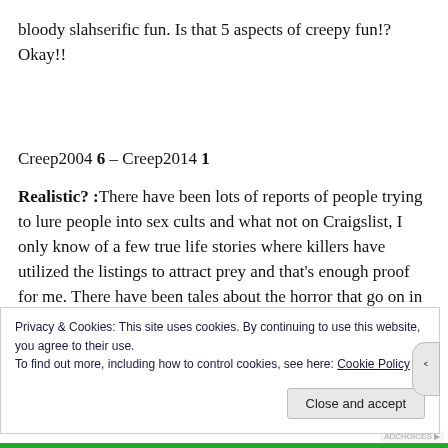bloody slahserific fun. Is that 5 aspects of creepy fun!? Okay!!
Creep2004 6 – Creep2014 1
Realistic? :There have been lots of reports of people trying to lure people into sex cults and what not on Craigslist, I only know of a few true life stories where killers have utilized the listings to attract prey and that's enough proof for me. There have been tales about the horror that go on in the old unused
Privacy & Cookies: This site uses cookies. By continuing to use this website, you agree to their use.
To find out more, including how to control cookies, see here: Cookie Policy
Close and accept